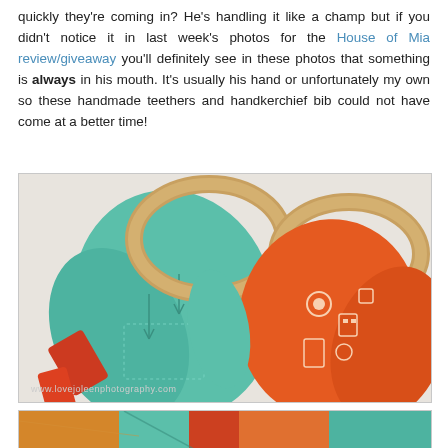quickly they're coming in? He's handling it like a champ but if you didn't notice it in last week's photos for the House of Mia review/giveaway you'll definitely see in these photos that something is always in his mouth. It's usually his hand or unfortunately my own so these handmade teethers and handkerchief bib could not have come at a better time!
[Figure (photo): Two wooden ring teethers with colorful fabric tied through them — one teal/mint fabric with arrow patterns and one orange fabric with robot/gear patterns — lying on a light surface. Watermark: www.lovejoleenphotography.com]
[Figure (photo): Close-up partial view of colorful teether fabrics in orange, teal, and yellow tones.]